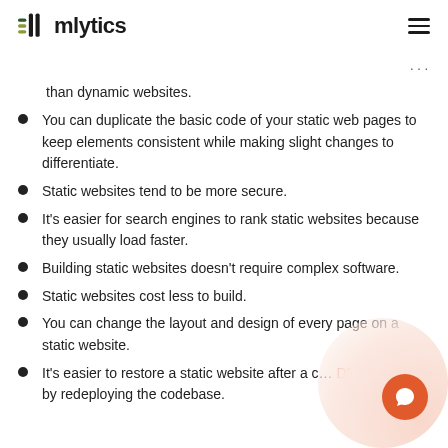mlytics
than dynamic websites.
You can duplicate the basic code of your static web pages to keep elements consistent while making slight changes to differentiate.
Static websites tend to be more secure.
It's easier for search engines to rank static websites because they usually load faster.
Building static websites doesn't require complex software.
Static websites cost less to build.
You can change the layout and design of every page on a static website.
It's easier to restore a static website after a cyber DDoS attack by redeploying the codebase.